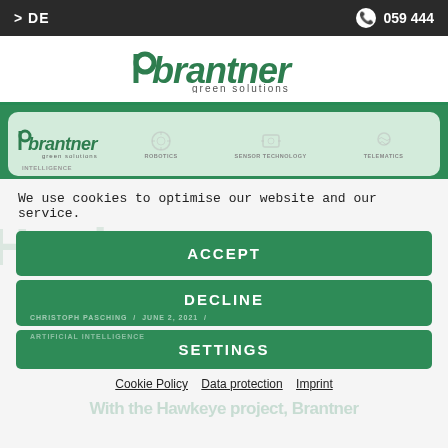> DE   059 444
[Figure (logo): Brantner green solutions logo in dark green with stylized 'b' and tagline 'green solutions']
[Figure (screenshot): Brantner navigation banner showing: INTELLIGENCE, ROBOTICS, SENSOR TECHNOLOGY, TELEMATICS icons with brantner green solutions logo overlay]
We use cookies to optimise our website and our service.
ACCEPT
DECLINE
SETTINGS
Cookie Policy   Data protection   Imprint
With the Hawkeye project, Brantner